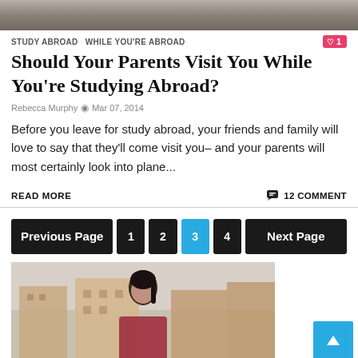[Figure (photo): Top of page photo showing group of people, partially cropped]
STUDY ABROAD  WHILE YOU'RE ABROAD
Should Your Parents Visit You While You're Studying Abroad?
Rebecca Murphy  Mar 07, 2014
Before you leave for study abroad, your friends and family will love to say that they'll come visit you– and your parents will most certainly look into plane...
READ MORE   12 COMMENT
Previous Page  1  2  3  4  Next Page
[Figure (photo): Photo of a young woman with dark hair in ponytail, smiling, standing in front of European-style buildings]